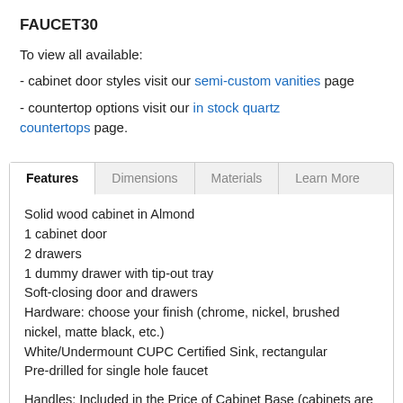FAUCET30
To view all available:
- cabinet door styles visit our semi-custom vanities page
- countertop options visit our in stock quartz countertops page.
Features | Dimensions | Materials | Learn More
Solid wood cabinet in Almond
1 cabinet door
2 drawers
1 dummy drawer with tip-out tray
Soft-closing door and drawers
Hardware: choose your finish (chrome, nickel, brushed nickel, matte black, etc.)
White/Undermount CUPC Certified Sink, rectangular
Pre-drilled for single hole faucet
Handles: Included in the Price of Cabinet Base (cabinets are not pre-drilled for handle installation). Service can be added - additional fees apply.